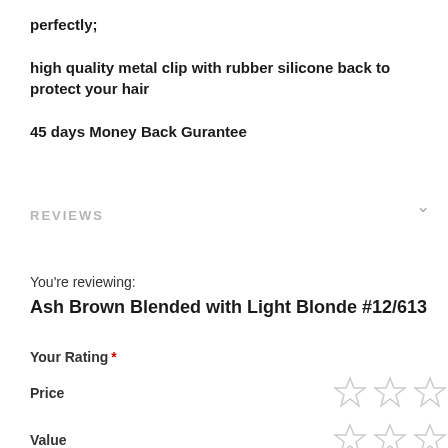perfectly;
high quality metal clip with rubber silicone back to protect your hair
45 days Money Back Gurantee
REVIEWS
You're reviewing:
Ash Brown Blended with Light Blonde #12/613
Your Rating *
Price
Value